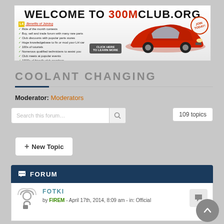[Figure (screenshot): Banner advertisement for 300MClub.org showing a red Chrysler 300M car with benefits list and Join Today stamp]
COOLANT CHANGING
Moderator: Moderators
Search this forum...
109 topics
+ New Topic
FORUM
FOTKI
by FIREM - April 17th, 2014, 8:09 am - in: Official